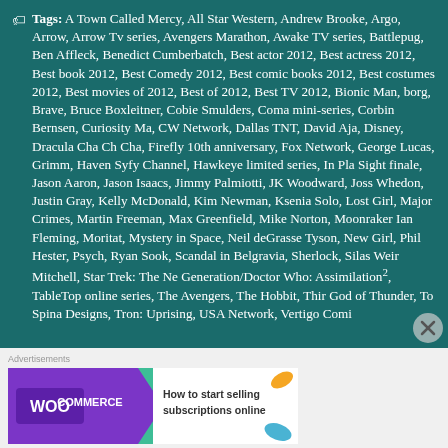Tags: A Town Called Mercy, All Star Western, Andrew Brooke, Argo, Arrow, Arrow Tv series, Avengers Marathon, Awake TV series, Battlepug, Ben Affleck, Benedict Cumberbatch, Best actor 2012, Best actress 2012, Best book 2012, Best Comedy 2012, Best comic books 2012, Best costumes 2012, Best movies of 2012, Best of 2012, Best TV 2012, Bionic Man, borg, Brave, Bruce Boxleitner, Cobie Smulders, Coma mini-series, Corbin Bernsen, Curiosity Ma, CW Network, Dallas TNT, David Aja, Disney, Dracula Cha Ch Cha, Firefly 10th anniversary, Fox Network, George Lucas, Grimm, Haven Syfy Channel, Hawkeye limited series, In Pla Sight finale, Jason Aaron, Jason Isaacs, Jimmy Palmiotti, JK Woodward, Joss Whedon, Justin Gray, Kelly McDonald, Kim Newman, Ksenia Solo, Lost Girl, Major Crimes, Martin Freeman, Max Greenfield, Mike Norton, Moonraker Ian Fleming, Moritat, Mystery in Space, Neil deGrasse Tyson, New Girl, Phil Hester, Psych, Ryan Sook, Scandal in Belgravia, Sherlock, Silas Weir Mitchell, Star Trek: The Ne Generation/Doctor Who: Assimilation², TableTop online series, The Avengers, The Hobbit, Thir God of Thunder, To Spina Designs, Tron: Uprising, USA Network, Vertigo Comi
[Figure (other): WooCommerce advertisement banner: purple background with WooCommerce logo and teal arrow, white right section with text 'How to start selling subscriptions online', orange and blue leaf decorations]